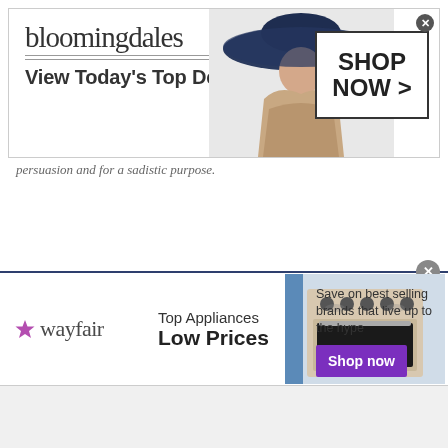[Figure (screenshot): Bloomingdales advertisement banner: logo text 'bloomingdales', tagline 'View Today's Top Deals!', woman in dark blue wide-brim hat, 'SHOP NOW >' CTA box, close button]
persuasion and for a sadistic purpose.
[Figure (screenshot): Wayfair advertisement: logo with star and 'wayfair' wordmark, 'Top Appliances Low Prices' text, appliance image, 'Save on best selling brands that live up to the hype' text, purple 'Shop now' button, close button]